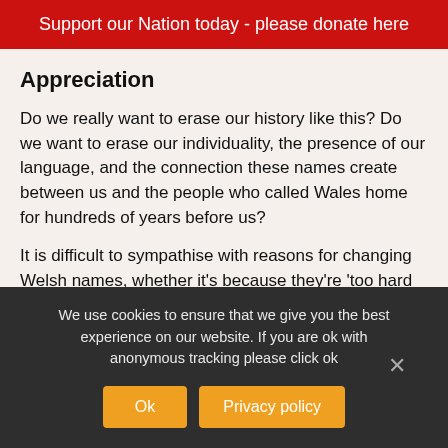Support our Nation today - please donate here
Appreciation
Do we really want to erase our history like this? Do we want to erase our individuality, the presence of our language, and the connection these names create between us and the people who called Wales home for hundreds of years before us?
It is difficult to sympathise with reasons for changing Welsh names, whether it's because they're 'too hard to pronounce', aren't 'marketable',
We use cookies to ensure that we give you the best experience on our website. If you are ok with anonymous tracking please click ok
Ok   Privacy policy